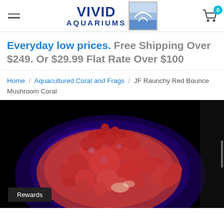[Figure (logo): Vivid Aquariums logo with text VIVID AQUARIUMS and a blue aquarium icon]
Everyday low prices. Free Shipping Over $249. Or $29.99 Flat Rate Over $100
Home / Aquacultured Coral and Frags / JF Raunchy Red Bounce Mushroom Coral
[Figure (photo): Close-up photo of a JF Raunchy Red Bounce Mushroom Coral — a round, bumpy red coral with blue/purple glowing highlights on a black background]